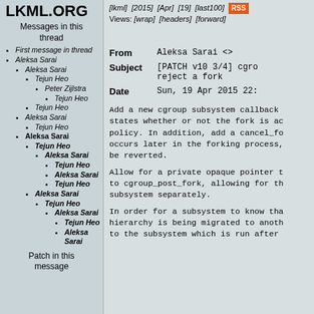LKML.ORG
Messages in this thread
First message in thread
Aleksa Sarai
Aleksa Sarai
Tejun Heo
Peter Zijlstra
Tejun Heo
Tejun Heo
Aleksa Sarai
Tejun Heo
Aleksa Sarai
Tejun Heo
Aleksa Sarai
Tejun Heo
Aleksa Sarai
Tejun Heo
Aleksa Sarai
Tejun Heo
Aleksa Sarai
Tejun Heo
Aleksa Sarai
Patch in this message
[lkml]  [2015]  [Apr]  [19]  [last100]  RSS
Views: [wrap]  [headers]  [forward]
| Field | Value |
| --- | --- |
| From | Aleksa Sarai <> |
| Subject | [PATCH v10 3/4] cgro reject a fork |
| Date | Sun, 19 Apr 2015 22: |
Add a new cgroup subsystem callback states whether or not the fork is ac policy. In addition, add a cancel_fo occurs later in the forking process, be reverted.
Allow for a private opaque pointer t to cgroup_post_fork, allowing for th subsystem separately.
In order for a subsystem to know tha hierarchy is being migrated to anoth to the subsystem which is run after